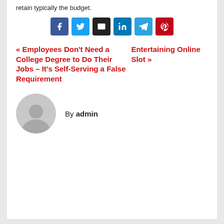retain typically the budget.
[Figure (other): Social share buttons: Facebook, Twitter, Email, LinkedIn, Telegram, Pinterest]
« Employees Don't Need a College Degree to Do Their Jobs – It's Self-Serving a False Requirement
Entertaining Online Slot »
By admin